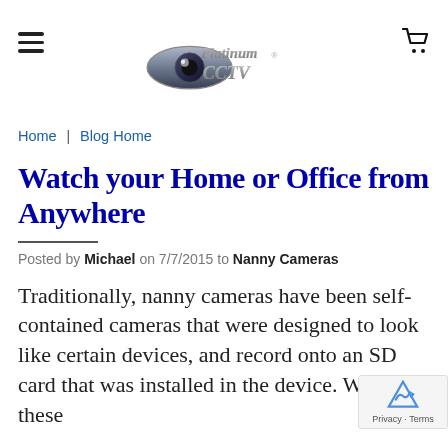[Figure (logo): Platinum CCTV logo with metallic eye graphic and stylized text]
Home | Blog Home
Watch your Home or Office from Anywhere
Posted by Michael on 7/7/2015 to Nanny Cameras
Traditionally, nanny cameras have been self-contained cameras that were designed to look like certain devices, and record onto an SD card that was installed in the device. While these